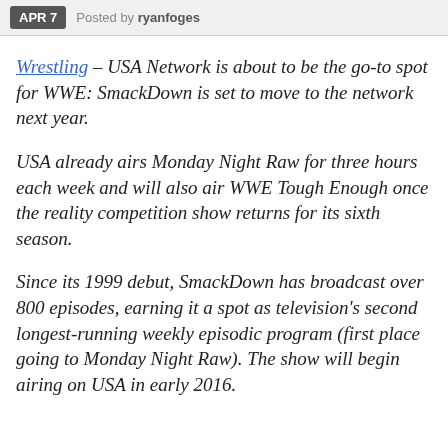APR 7  Posted by ryanfoges
Wrestling – USA Network is about to be the go-to spot for WWE: SmackDown is set to move to the network next year.
USA already airs Monday Night Raw for three hours each week and will also air WWE Tough Enough once the reality competition show returns for its sixth season.
Since its 1999 debut, SmackDown has broadcast over 800 episodes, earning it a spot as television's second longest-running weekly episodic program (first place going to Monday Night Raw). The show will begin airing on USA in early 2016.